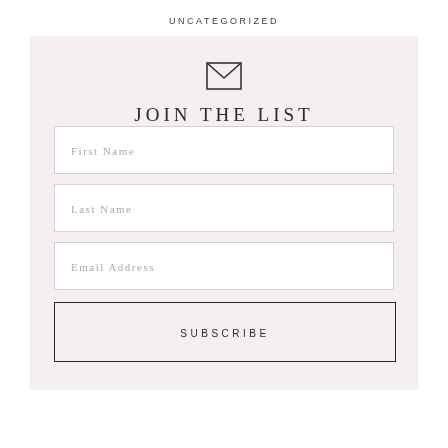UNCATEGORIZED
[Figure (illustration): Envelope icon (mail symbol) outline in dark gray]
JOIN THE LIST
First Name
Last Name
Email Address
SUBSCRIBE